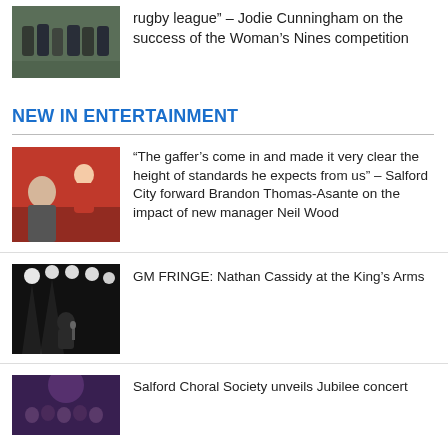[Figure (photo): Rugby league team players in dark jerseys, outdoors on a field]
rugby league” – Jodie Cunningham on the success of the Woman’s Nines competition
NEW IN ENTERTAINMENT
[Figure (photo): Salford City football player signing autographs for fans, wearing red kit]
“The gaffer’s come in and made it very clear the height of standards he expects from us” – Salford City forward Brandon Thomas-Asante on the impact of new manager Neil Wood
[Figure (photo): Comedian performing on stage with bright stage lights behind him in a dark venue]
GM FRINGE: Nathan Cassidy at the King’s Arms
[Figure (photo): Salford Choral Society concert, purple/blue lighting]
Salford Choral Society unveils Jubilee concert